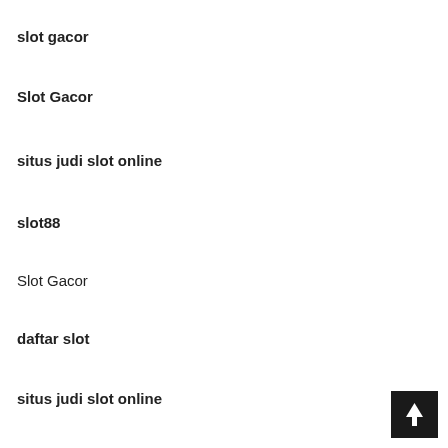slot gacor
Slot Gacor
situs judi slot online
slot88
Slot Gacor
daftar slot
situs judi slot online